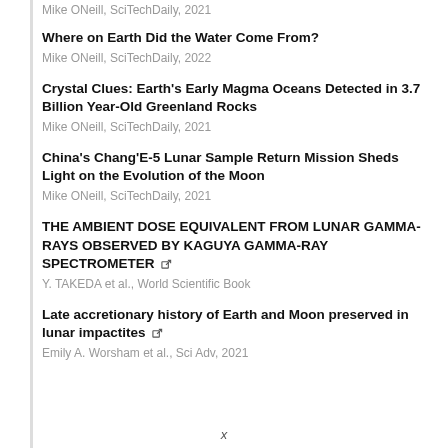Mike ONeill, SciTechDaily, 2021
Where on Earth Did the Water Come From?
Mike ONeill, SciTechDaily, 2022
Crystal Clues: Earth's Early Magma Oceans Detected in 3.7 Billion Year-Old Greenland Rocks
Mike ONeill, SciTechDaily, 2021
China's Chang'E-5 Lunar Sample Return Mission Sheds Light on the Evolution of the Moon
Mike ONeill, SciTechDaily, 2021
THE AMBIENT DOSE EQUIVALENT FROM LUNAR GAMMA-RAYS OBSERVED BY KAGUYA GAMMA-RAY SPECTROMETER
Y. TAKEDA et al., World Scientific Book
Late accretionary history of Earth and Moon preserved in lunar impactites
Emily A. Worsham et al., Sci Adv, 2021
x